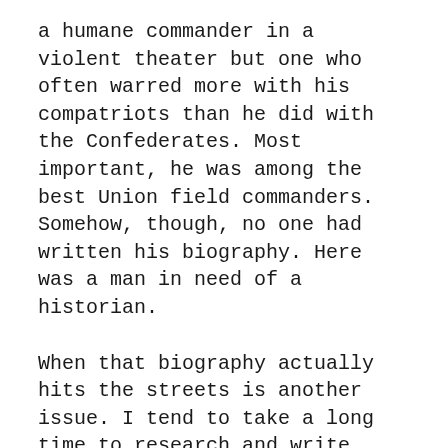a humane commander in a violent theater but one who often warred more with his compatriots than he did with the Confederates. Most important, he was among the best Union field commanders. Somehow, though, no one had written his biography. Here was a man in need of a historian.
When that biography actually hits the streets is another issue. I tend to take a long time to research and write. I'm now five years into the project with research just about complete. I've started writing, but that will no doubt drag for a few more years.
BGES Blog: When did you first become interested in the Civil War? Was it